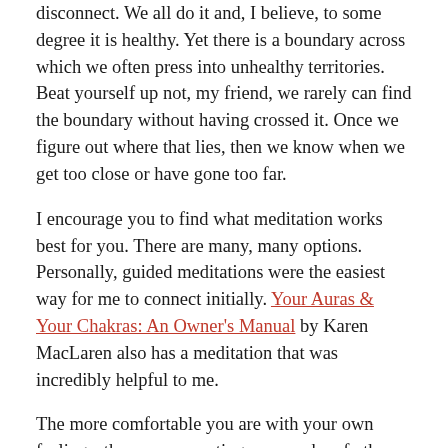disconnect. We all do it and, I believe, to some degree it is healthy. Yet there is a boundary across which we often press into unhealthy territories. Beat yourself up not, my friend, we rarely can find the boundary without having crossed it. Once we figure out where that lies, then we know when we get too close or have gone too far.
I encourage you to find what meditation works best for you. There are many, many options. Personally, guided meditations were the easiest way for me to connect initially. Your Auras & Your Chakras: An Owner's Manual by Karen MacLaren also has a meditation that was incredibly helpful to me.
The more comfortable you are with your own feelings, the more accepting you can be of others. The more accepting of others, the more deeply you will find that you readily connect.
Namaste.